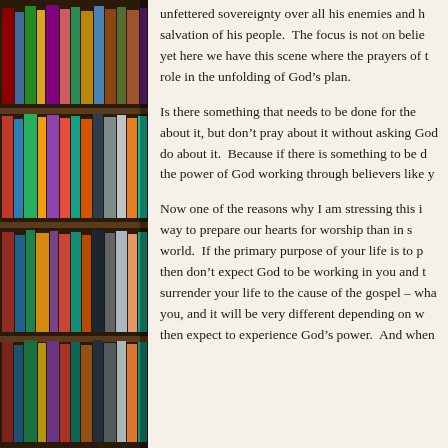[Figure (photo): Bookshelf with colorful books on the left side of the page, serving as a decorative background element.]
unfettered sovereignty over all his enemies and his salvation of his people.  The focus is not on belie yet here we have this scene where the prayers of t role in the unfolding of God’s plan.
Is there something that needs to be done for the about it, but don’t pray about it without asking God do about it.  Because if there is something to be d the power of God working through believers like y
Now one of the reasons why I am stressing this i way to prepare our hearts for worship than in s world.  If the primary purpose of your life is to p then don’t expect God to be working in you and t surrender your life to the cause of the gospel – wha you, and it will be very different depending on w then expect to experience God’s power.  And when